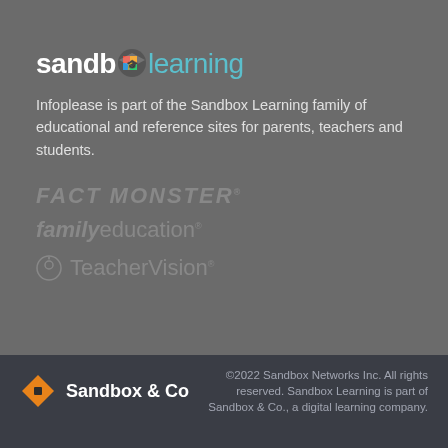[Figure (logo): Sandbox Learning logo with colorful graduation cap icon replacing the 'o' in 'sandbox', followed by 'learning' in teal]
Infoplease is part of the Sandbox Learning family of educational and reference sites for parents, teachers and students.
[Figure (logo): Fact Monster brand logo in gray italic uppercase text]
[Figure (logo): familyeducation brand logo in gray, 'family' bold italic, 'education' regular]
[Figure (logo): TeacherVision brand logo in gray with apple icon]
[Figure (logo): Sandbox & Co logo with orange diamond/rhombus icon and white bold text]
©2022 Sandbox Networks Inc. All rights reserved. Sandbox Learning is part of Sandbox & Co., a digital learning company.